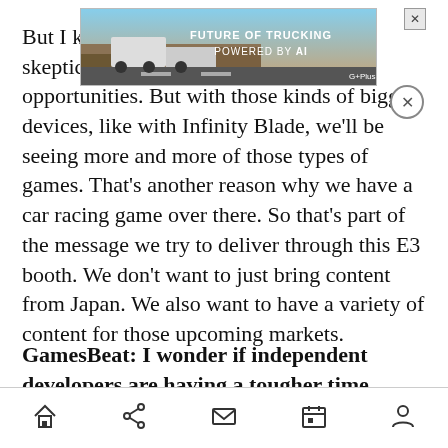[Figure (other): Advertisement banner: 'FUTURE OF TRUCKING POWERED BY AI' with a truck image on rocky terrain background]
But I [text obscured by ad] kinds of games. They were very skeptical about the mobile, smartphone opportunities. But with those kinds of bigger devices, like with Infinity Blade, we'll be seeing more and more of those types of games. That's another reason why we have a car racing game over there. So that's part of the message we try to deliver through this E3 booth. We don't want to just bring content from Japan. We also want to have a variety of content for those upcoming markets.
GamesBeat: I wonder if independent developers are having a tougher time. Zynga dominates on social now. A lot of the bigger social game